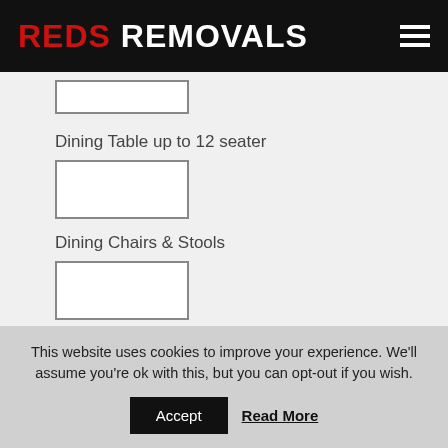Reds Removals
Dining Table up to 12 seater
Dining Chairs & Stools
Small Bookcase
This website uses cookies to improve your experience. We'll assume you're ok with this, but you can opt-out if you wish.